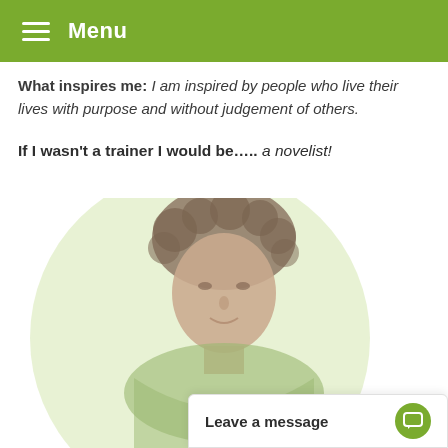Menu
What inspires me: I am inspired by people who live their lives with purpose and without judgement of others.
If I wasn't a trainer I would be….. a novelist!
[Figure (photo): Portrait photo of a person with curly hair against a light green circular background]
Leave a message